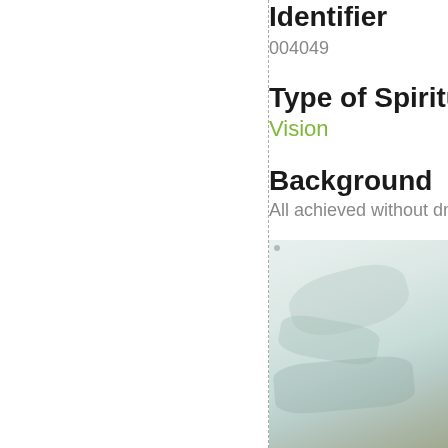Identifier
004049
Type of Spiritual
Vision
Background
All achieved without drugs
[Figure (photo): A photograph with light, pale blue-green and white tones, suggesting a close-up painterly or watercolor-like image]